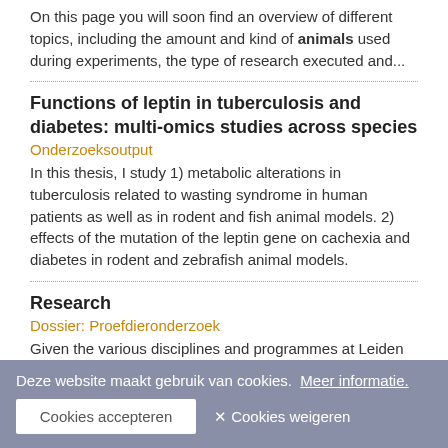On this page you will soon find an overview of different topics, including the amount and kind of animals used during experiments, the type of research executed and...
Functions of leptin in tuberculosis and diabetes: multi-omics studies across species
Onderzoeksoutput
In this thesis, I study 1) metabolic alterations in tuberculosis related to wasting syndrome in human patients as well as in rodent and fish animal models. 2) effects of the mutation of the leptin gene on cachexia and diabetes in rodent and zebrafish animal models.
Research
Dossier: Proefdieronderzoek
Given the various disciplines and programmes at Leiden University, the experiments on animals that we conduct are very diverse. It can include both biomedical as well as biological research.
Host-Microbe Interactions
Instituut Biologie Leiden (IBL)
Host-Microbe Interactions is one of the four research themes of the
Deze website maakt gebruik van cookies.  Meer informatie.
Cookies accepteren  ✕ Cookies weigeren